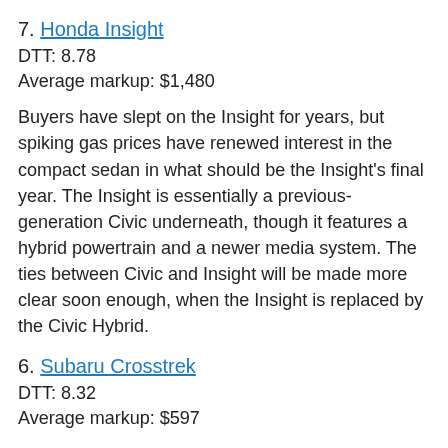7. Honda Insight
DTT: 8.78
Average markup: $1,480
Buyers have slept on the Insight for years, but spiking gas prices have renewed interest in the compact sedan in what should be the Insight's final year. The Insight is essentially a previous-generation Civic underneath, though it features a hybrid powertrain and a newer media system. The ties between Civic and Insight will be made more clear soon enough, when the Insight is replaced by the Civic Hybrid.
6. Subaru Crosstrek
DTT: 8.32
Average markup: $597
The Subaru Crosstrek is the Swiss Army knife of automobiles. It's more capable off-road than many other crossovers thanks to its comparatively tall ride height, standard all-wheel drive and low-traction driving modes. The Crosstrek is also smaller than Subaru's Forester, so parking